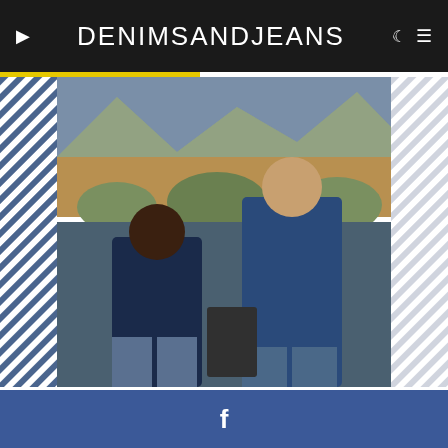DENIMSANDJEANS
[Figure (photo): Two men wearing denim jackets and jeans standing outdoors in a desert landscape with mountains and shrubs in the background]
Kontoor Brands has presented its sustainability report for the brands' Wrangler and Lee, its sustainability goal, with this